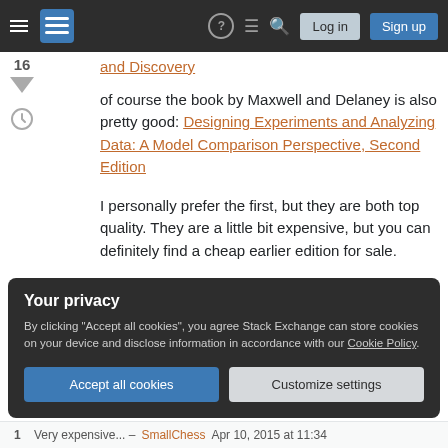Stack Exchange navigation bar with hamburger menu, logo, help, chat, search icons, Log in and Sign up buttons
and Discovery
of course the book by Maxwell and Delaney is also pretty good: Designing Experiments and Analyzing Data: A Model Comparison Perspective, Second Edition
I personally prefer the first, but they are both top quality. They are a little bit expensive, but you can definitely find a cheap earlier edition for sale.
Your privacy
By clicking "Accept all cookies", you agree Stack Exchange can store cookies on your device and disclose information in accordance with our Cookie Policy.
Accept all cookies   Customize settings
1   Very expensive... – SmallChess Apr 10, 2015 at 11:34